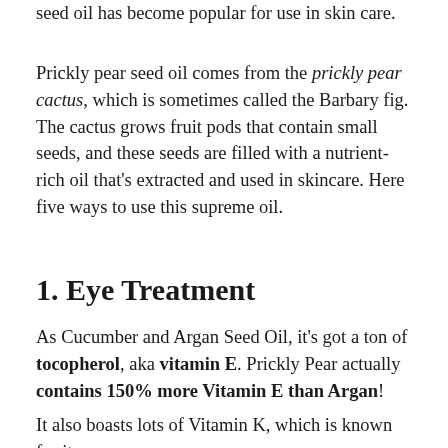seed oil has become popular for use in skin care.
Prickly pear seed oil comes from the prickly pear cactus, which is sometimes called the Barbary fig. The cactus grows fruit pods that contain small seeds, and these seeds are filled with a nutrient-rich oil that’s extracted and used in skincare. Here five ways to use this supreme oil.
1. Eye Treatment
As Cucumber and Argan Seed Oil, it’s got a ton of tocopherol, aka vitamin E. Prickly Pear actually contains 150% more Vitamin E than Argan!
It also boasts lots of Vitamin K, which is known for its